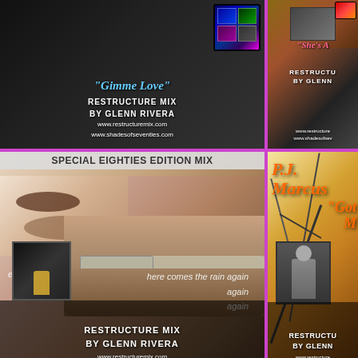[Figure (photo): Album cover for 'Gimme Love' Restructure Mix by Glenn Rivera. Dark background with film strip motif in top right, neon/laser light effects. White text: RESTRUCTURE MIX BY GLENN RIVERA, www.restructuremix.com, www.shadesofseventies.com. Song title in blue italic text.]
[Figure (photo): Album cover partially visible - She's A... Restructure Mix by Glenn Rivera. Brown/dark tones with group photo. Partially cropped on right edge.]
[Figure (photo): Special Eighties Edition Mix - Eurythmics 'here comes the rain again again again'. Large close-up faces (man and woman). Small album thumbnail bottom left. Bottom section: RESTRUCTURE MIX BY GLENN RIVERA, www.restructuremix.com, www.shadesofseventies.com. Gray banner at top reads SPECIAL EIGHTIES EDITION MIX.]
[Figure (photo): P.J. Marcus album cover with abstract art background in earth tones, P.J. Marcus title in orange italic script. Small inset performance photo bottom left. 'Got' text visible. Bottom: RESTRUCTURE by GLENN, www.restructure, www.shadesofsev...]
[Figure (photo): Demis Roussos album cover. Close-up of a man's eyes/face in dark tones. Bottom text: Demis Roussos with pipe separator.]
[Figure (photo): Dark album cover with large gray letter S partially visible top right, and close-up of female eyes in lower portion.]